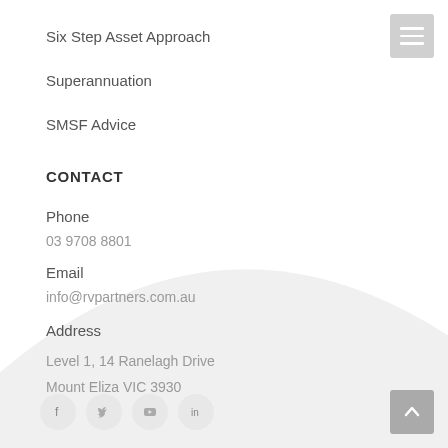Six Step Asset Approach
Superannuation
SMSF Advice
CONTACT
Phone
03 9708 8801
Email
info@rvpartners.com.au
Address
Level 1, 14 Ranelagh Drive
Mount Eliza VIC 3930
[Figure (other): Social media icons row: Facebook, Twitter, YouTube, LinkedIn]